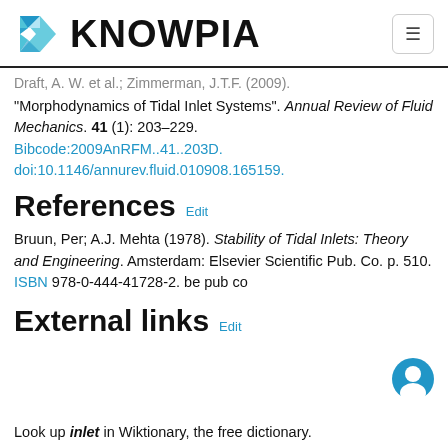KNOWPIA
"Morphodynamics of Tidal Inlet Systems". Annual Review of Fluid Mechanics. 41 (1): 203–229. Bibcode:2009AnRFM..41..203D. doi:10.1146/annurev.fluid.010908.165159.
References Edit
Bruun, Per; A.J. Mehta (1978). Stability of Tidal Inlets: Theory and Engineering. Amsterdam: Elsevier Scientific Pub. Co. p. 510. ISBN 978-0-444-41728-2. be pub co
External links Edit
Look up inlet in Wiktionary, the free dictionary.